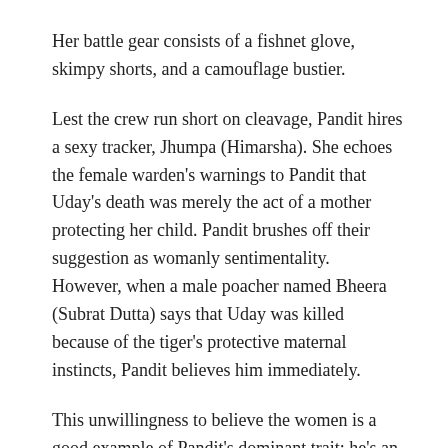Her battle gear consists of a fishnet glove, skimpy shorts, and a camouflage bustier.
Lest the crew run short on cleavage, Pandit hires a sexy tracker, Jhumpa (Himarsha). She echoes the female warden's warnings to Pandit that Uday's death was merely the act of a mother protecting her child. Pandit brushes off their suggestion as womanly sentimentality. However, when a male poacher named Bheera (Subrat Dutta) says that Uday was killed because of the tiger's protective maternal instincts, Pandit believes him immediately.
This unwillingness to believe the women is a good example of Pandit's dominant trait: he's an asshole. He shouts a lot and is mean to the people who try to help him on his pointless, fatal quest. He doesn't do a single heroic thing in the movie.
After the tiger escapes Pandit's first ridiculous trap — which